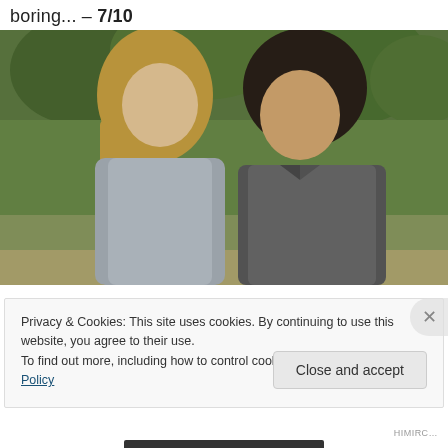boring... – 7/10
[Figure (photo): A blonde woman and a dark-haired man face each other outdoors in a park or garden setting with trees in the background. The woman is wearing a light grey hoodie and the man is in a dark grey jacket.]
Privacy & Cookies: This site uses cookies. By continuing to use this website, you agree to their use.
To find out more, including how to control cookies, see here: Cookie Policy
Close and accept